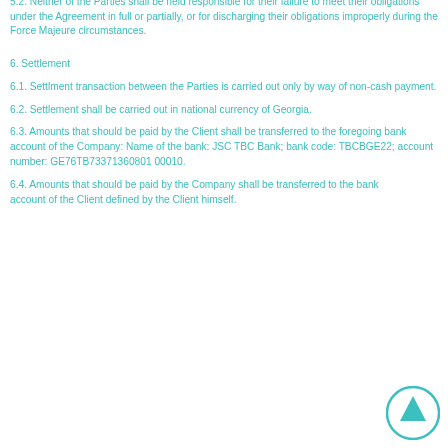(loss) does not relieve the Parties of fulfillment (payment) of obligations under the Agreement.
5.2. Neither of the Parties shall be held responsible for their failure to meet their obligations under the Agreement in full or partially, or for discharging their obligations improperly during the Force Majeure circumstances.
6. Settlement
6.1. Settlment transaction between the Parties is carried out only by way of non-cash payment.
6.2. Settlement shall be carried out in national currency of Georgia.
6.3. Amounts that should be paid by the Client shall be transferred to the foregoing bank account of the Company: Name of the bank: JSC TBC Bank; bank code: TBCBGE22; account number: GE76TB73371360801 00010.
6.4. Amounts that should be paid by the Company shall be transferred to the bank account of the Client defined by the Client himself.